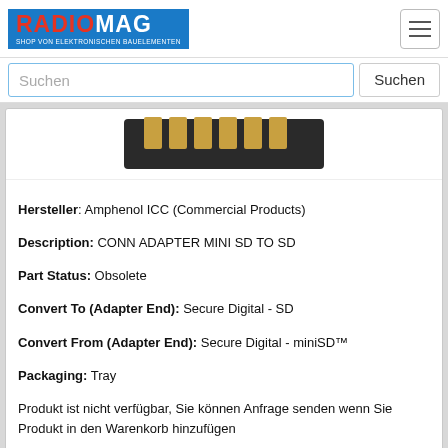RADIOMAG - SHOP VON ELEKTRONISCHEN BAUELEMENTEN
[Figure (screenshot): Search bar with text input field labeled 'Suchen' and a 'Suchen' button]
[Figure (photo): SD card adapter connector showing gold contacts on black plastic body]
Hersteller: Amphenol ICC (Commercial Products)
Description: CONN ADAPTER MINI SD TO SD
Part Status: Obsolete
Convert To (Adapter End): Secure Digital - SD
Convert From (Adapter End): Secure Digital - miniSD™
Packaging: Tray
Produkt ist nicht verfügbar, Sie können Anfrage senden wenn Sie Produkt in den Warenkorb hinzufügen
kaufen
FRJ2411
[Figure (photo): Electronic component - grey cylindrical parts visible at bottom of card]